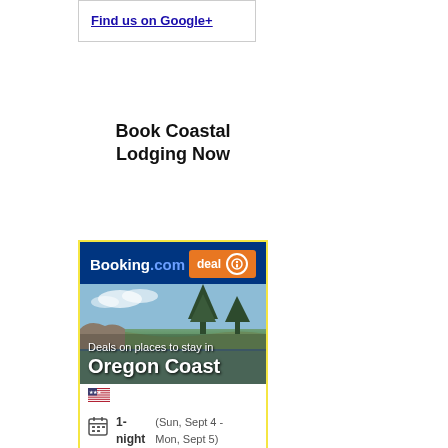[Figure (other): Box with 'Find us on Google+' link]
Book Coastal Lodging Now
[Figure (infographic): Booking.com advertisement widget showing deals on places to stay in Oregon Coast, 1-night stay (Sun, Sept 4 - Mon, Sept 5), with See all deals button]